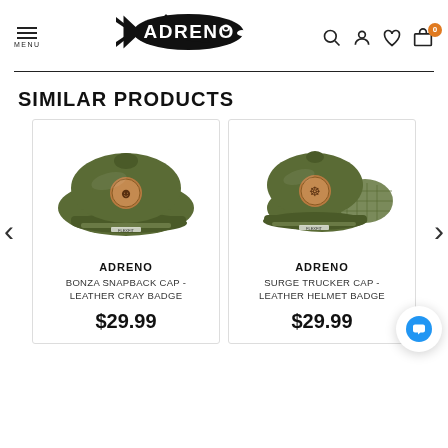[Figure (logo): Adreno brand logo with fish silhouette and ADRENO text]
SIMILAR PRODUCTS
[Figure (photo): Olive green snapback cap with round leather badge featuring a crayfish/lobster design]
ADRENO
BONZA SNAPBACK CAP - LEATHER CRAY BADGE
$29.99
[Figure (photo): Olive green trucker cap with mesh back and round leather badge featuring a helmet/diver design]
ADRENO
SURGE TRUCKER CAP - LEATHER HELMET BADGE
$29.99